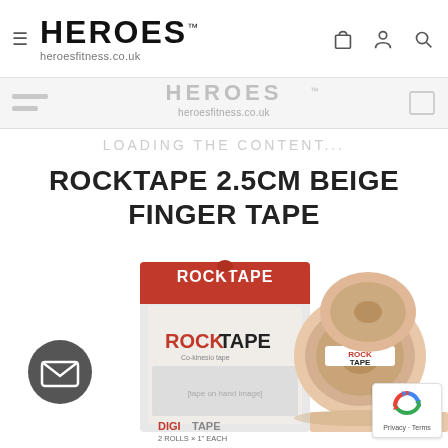HEROES™ heroesfitness.co.uk
[Figure (screenshot): Secondary header showing HEROES logo text partially visible, heroesfitness.co.uk URL, left hamburger lines, right cart icon]
LOADING THE CONTENT...
ROCKTAPE 2.5CM BEIGE FINGER TAPE
[Figure (photo): RockTape product photo showing a red-and-white ROCKTAPE box (Digitape 2 Rolls x 1 inch Each) alongside two rolls of beige RockTape finger tape unrolling]
[Figure (other): Dark grey circular email/envelope icon button (chat widget)]
[Figure (other): reCAPTCHA badge with spinning arrows logo and Privacy · Terms text]